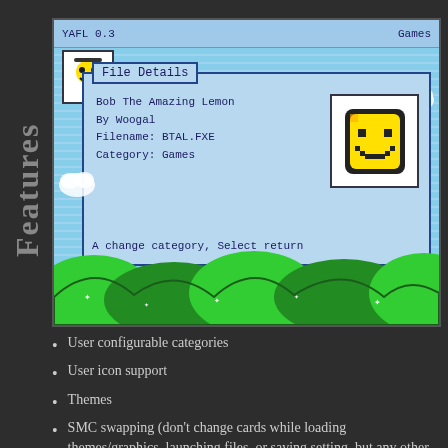Features
[Figure (screenshot): Screenshot of YAFL 0.3 game launcher showing 'File Details' dialog for 'Bob The Amazing Lemon' by Woogal. Filename: BTAL.FXE, Category: Games. Shows pixel art characters and green hills background.]
User configurable categories
User icon support
Themes
SMC swapping (don't change cards while loading themes/graphics, launching files, or saving setting, but any other time should be fine)